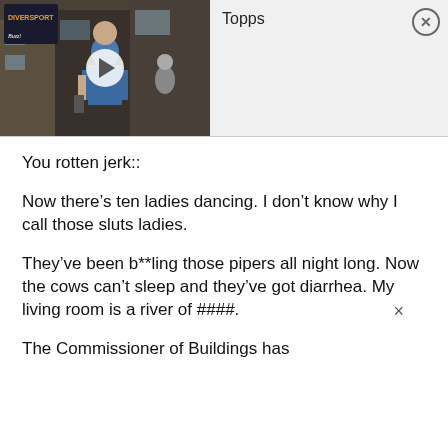[Figure (screenshot): Video thumbnail showing a man in a blue shirt being interviewed on a street, with a play button overlay. A 'Topps' label and close (X) button appear to the right.]
You rotten jerk::
Now there’s ten ladies dancing. I don’t know why I call those sluts ladies.
They’ve been b**ling those pipers all night long. Now the cows can’t sleep and they’ve got diarrhea. My living room is a river of ####.
The Commissioner of Buildings has